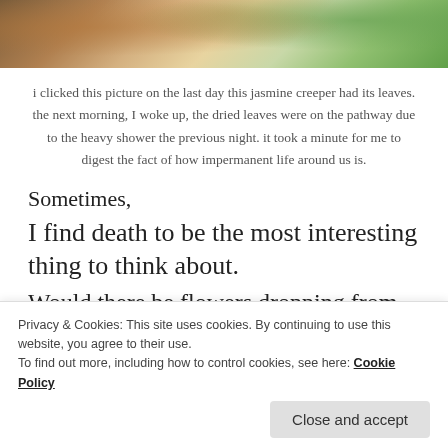[Figure (photo): A partial photograph showing a jasmine creeper with autumn/dried leaves on a wall, with trees visible on the right side. The image is cropped showing only the bottom portion.]
i clicked this picture on the last day this jasmine creeper had its leaves. the next morning, I woke up, the dried leaves were on the pathway due to the heavy shower the previous night. it took a minute for me to digest the fact of how impermanent life around us is.
Sometimes,
I find death to be the most interesting thing to think about.
Would there be flowers dropping from sky,
Privacy & Cookies: This site uses cookies. By continuing to use this website, you agree to their use.
To find out more, including how to control cookies, see here: Cookie Policy
Close and accept
would there be people to cry after I'm gone, gone far